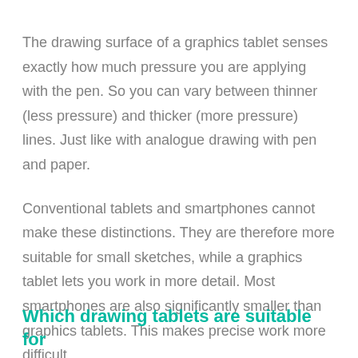The drawing surface of a graphics tablet senses exactly how much pressure you are applying with the pen. So you can vary between thinner (less pressure) and thicker (more pressure) lines. Just like with analogue drawing with pen and paper.
Conventional tablets and smartphones cannot make these distinctions. They are therefore more suitable for small sketches, while a graphics tablet lets you work in more detail. Most smartphones are also significantly smaller than graphics tablets. This makes precise work more difficult.
Which drawing tablets are suitable for